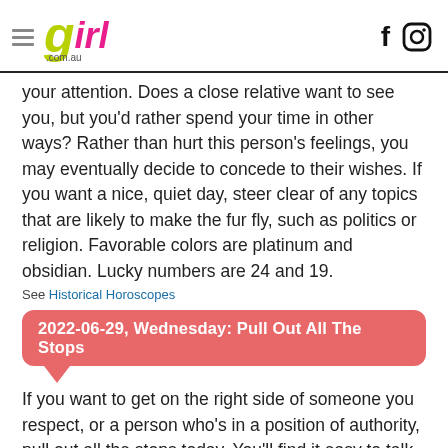girl.com.au
your attention. Does a close relative want to see you, but you'd rather spend your time in other ways? Rather than hurt this person's feelings, you may eventually decide to concede to their wishes. If you want a nice, quiet day, steer clear of any topics that are likely to make the fur fly, such as politics or religion. Favorable colors are platinum and obsidian. Lucky numbers are 24 and 19.
See Historical Horoscopes
2022-06-29, Wednesday:  Pull Out All The Stops
If you want to get on the right side of someone you respect, or a person who's in a position of authority, pull out all the stops today. You'll find it easy to talk to them and you could end up having a very interesting conversation. This is also a